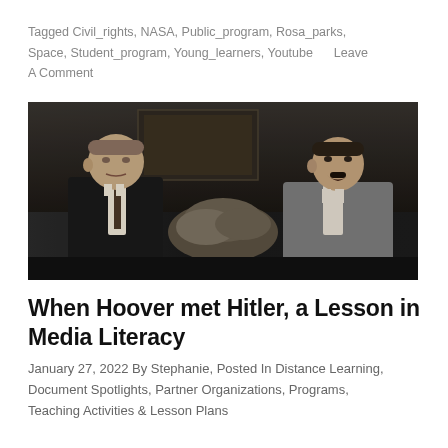Tagged Civil_rights, NASA, Public_program, Rosa_parks, Space, Student_program, Young_learners, Youtube     Leave A Comment
[Figure (photo): Black and white historical photograph of two men seated together in what appears to be an interior setting with cushions/pillows visible between them.]
When Hoover met Hitler, a Lesson in Media Literacy
January 27, 2022 By Stephanie, Posted In Distance Learning, Document Spotlights, Partner Organizations, Programs, Teaching Activities & Lesson Plans